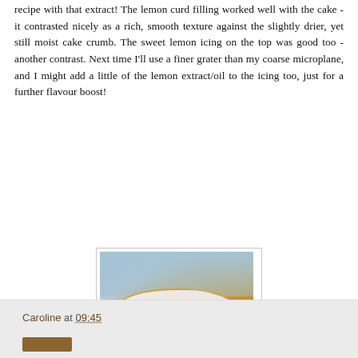recipe with that extract! The lemon curd filling worked well with the cake - it contrasted nicely as a rich, smooth texture against the slightly drier, yet still moist cake crumb. The sweet lemon icing on the top was good too - another contrast. Next time I'll use a finer grater than my coarse microplane, and I might add a little of the lemon extract/oil to the icing too, just for a further flavour boost!
[Figure (photo): Close-up photo of a lemon cake with white icing on top, showing the interior crumb texture with lemon curd filling, placed in a baking tin lined with paper, on a light blue background.]
Caroline at 09:45